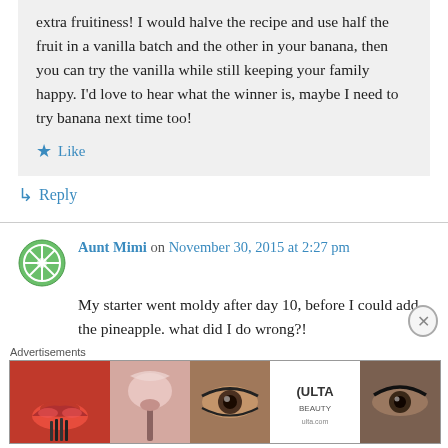extra fruitiness! I would halve the recipe and use half the fruit in a vanilla batch and the other in your banana, then you can try the vanilla while still keeping your family happy. I'd love to hear what the winner is, maybe I need to try banana next time too!
★ Like
↳ Reply
Aunt Mimi on November 30, 2015 at 2:27 pm
My starter went moldy after day 10, before I could add the pineapple. what did I do wrong?!
Advertisements
[Figure (photo): ULTA beauty advertisement banner showing makeup/cosmetic images and SHOP NOW text]